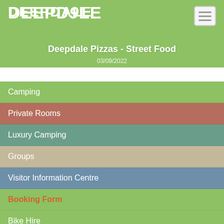DEEPDALE
Deepdale Pizzas - Street Food
03/09/2022
Camping
Private Rooms
Luxury Camping
Groups
Visitor Information Centre
Booking Form
Bike Hire
Events
Music